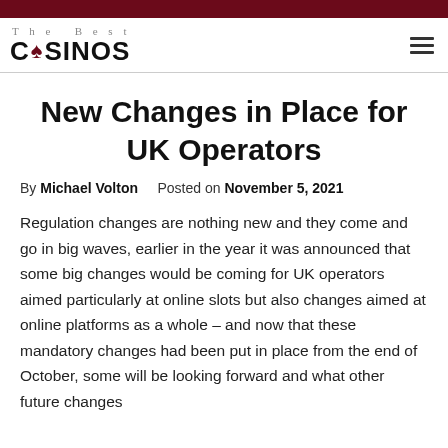The Best CASINOS
New Changes in Place for UK Operators
By Michael Volton   Posted on November 5, 2021
Regulation changes are nothing new and they come and go in big waves, earlier in the year it was announced that some big changes would be coming for UK operators aimed particularly at online slots but also changes aimed at online platforms as a whole – and now that these mandatory changes had been put in place from the end of October, some will be looking forward and what other future changes